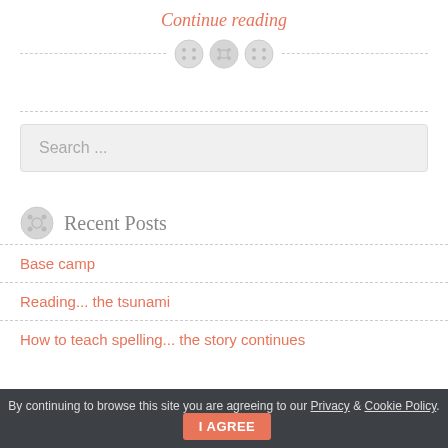Continue reading
[Figure (illustration): Three button icons centered between dashed horizontal lines as a decorative divider]
Search ...
Recent Posts
Base camp
Reading... the tsunami
How to teach spelling... the story continues
By continuing to browse this site you are agreeing to our Privacy & Cookie Policy. I AGREE